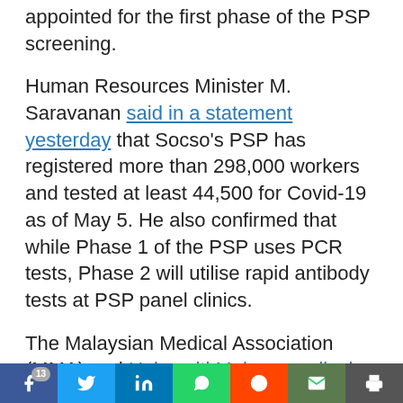appointed for the first phase of the PSP screening.
Human Resources Minister M. Saravanan said in a statement yesterday that Socso's PSP has registered more than 298,000 workers and tested at least 44,500 for Covid-19 as of May 5. He also confirmed that while Phase 1 of the PSP uses PCR tests, Phase 2 will utilise rapid antibody tests at PSP panel clinics.
The Malaysian Medical Association (MMA) and Universiti Malaya medical experts have said it is unnecessary to test all workers for Covid-19 before returning to work, pointing out that people can get infected even after
Social share bar: Facebook (13), Twitter, LinkedIn, WhatsApp, Reddit, Email, Print